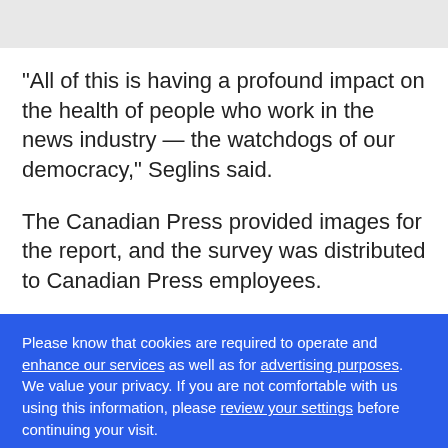"All of this is having a profound impact on the health of people who work in the news industry — the watchdogs of our democracy," Seglins said.
The Canadian Press provided images for the report, and the survey was distributed to Canadian Press employees.
Please know that cookies are required to operate and enhance our services as well as for advertising purposes. We value your privacy. If you are not comfortable with us using this information, please review your settings before continuing your visit.
Learn more
✕ Close